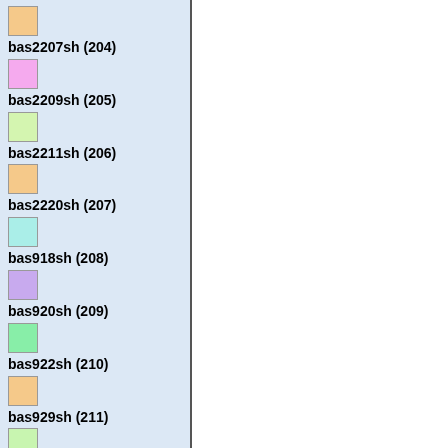bas2207sh (204)
bas2209sh (205)
bas2211sh (206)
bas2220sh (207)
bas918sh (208)
bas920sh (209)
bas922sh (210)
bas929sh (211)
bas930sh (212)